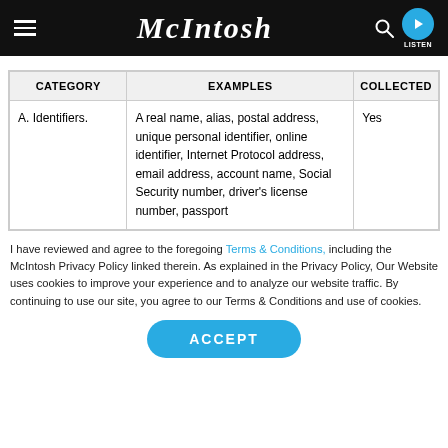McIntosh
| CATEGORY | EXAMPLES | COLLECTED |
| --- | --- | --- |
| A. Identifiers. | A real name, alias, postal address, unique personal identifier, online identifier, Internet Protocol address, email address, account name, Social Security number, driver's license number, passport | Yes |
I have reviewed and agree to the foregoing Terms & Conditions, including the McIntosh Privacy Policy linked therein. As explained in the Privacy Policy, Our Website uses cookies to improve your experience and to analyze our website traffic. By continuing to use our site, you agree to our Terms & Conditions and use of cookies.
ACCEPT